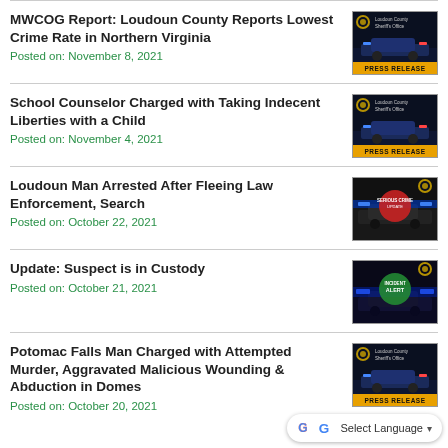MWCOG Report: Loudoun County Reports Lowest Crime Rate in Northern Virginia
Posted on: November 8, 2021
School Counselor Charged with Taking Indecent Liberties with a Child
Posted on: November 4, 2021
Loudoun Man Arrested After Fleeing Law Enforcement, Search
Posted on: October 22, 2021
Update: Suspect is in Custody
Posted on: October 21, 2021
Potomac Falls Man Charged with Attempted Murder, Aggravated Malicious Wounding & Abduction in Domes
Posted on: October 20, 2021